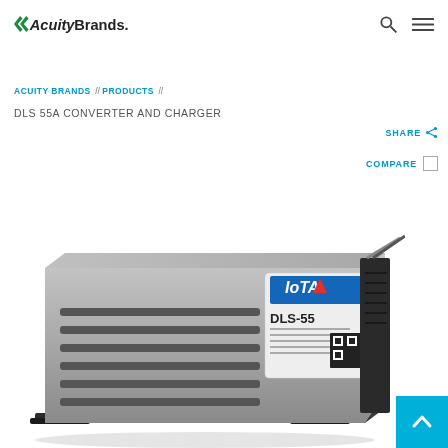Acuity Brands
ACUITY BRANDS // PRODUCTS //
DLS 55A CONVERTER AND CHARGER
SHARE
COMPARE
[Figure (photo): Photo of DLS-55 converter and charger unit, a rectangular metal box with ventilation slots and IOTA label, shown at an angle on white background]